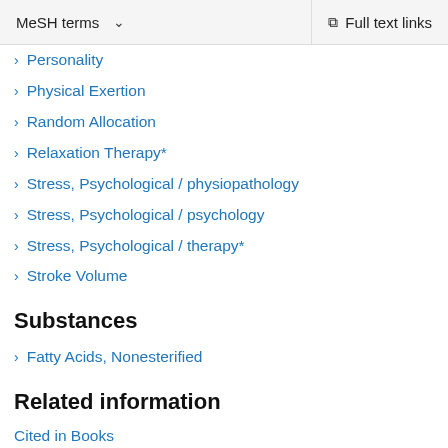MeSH terms  ∨    Full text links
Personality
Physical Exertion
Random Allocation
Relaxation Therapy*
Stress, Psychological / physiopathology
Stress, Psychological / psychology
Stress, Psychological / therapy*
Stroke Volume
Substances
Fatty Acids, Nonesterified
Related information
Cited in Books
MedGen